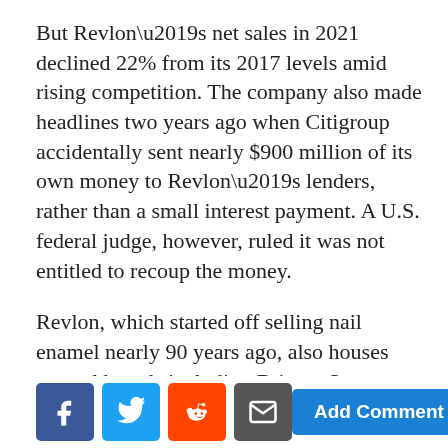But Revlon’s net sales in 2021 declined 22% from its 2017 levels amid rising competition. The company also made headlines two years ago when Citigroup accidentally sent nearly $900 million of its own money to Revlon’s lenders, rather than a small interest payment. A U.S. federal judge, however, ruled it was not entitled to recoup the money.
Revlon, which started off selling nail enamel nearly 90 years ago, also houses several brands including Britney Spears Fragrances and Christina Aguilera Fragrances.
[Figure (other): Social sharing buttons (Facebook, Twitter, Reddit, Email) and an Add Comment button]